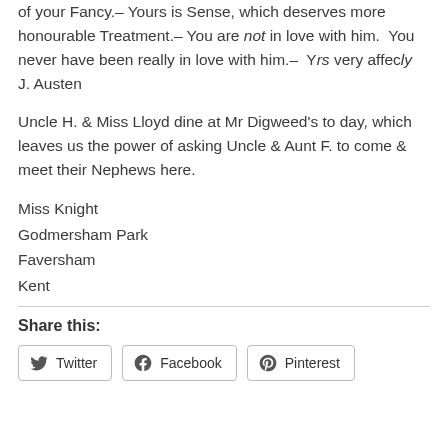of your Fancy.– Yours is Sense, which deserves more honourable Treatment.– You are not in love with him.  You never have been really in love with him.–  Yrs very affecly J. Austen
Uncle H. & Miss Lloyd dine at Mr Digweed's to day, which leaves us the power of asking Uncle & Aunt F. to come & meet their Nephews here.
Miss Knight
Godmersham Park
Faversham
Kent
Share this:
[Figure (other): Social share buttons: Twitter, Facebook, Pinterest]